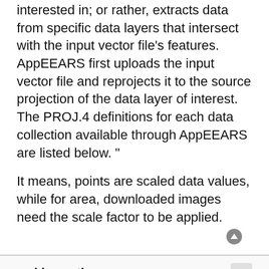interested in; or rather, extracts data from specific data layers that intersect with the input vector file's features. AppEEARS first uploads the input vector file and reprojects it to the source projection of the data layer of interest. The PROJ.4 definitions for each data collection available through AppEEARS are listed below. "
It means, points are scaled data values, while for area, downloaded images need the scale factor to be applied.
mchl.mccrthy
Re: MODIS LAI scale factor in